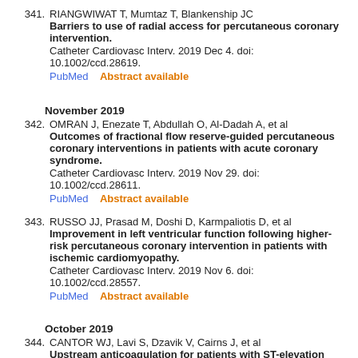341. RIANGWIWAT T, Mumtaz T, Blankenship JC
Barriers to use of radial access for percutaneous coronary intervention.
Catheter Cardiovasc Interv. 2019 Dec 4. doi: 10.1002/ccd.28619.
PubMed    Abstract available
November 2019
342. OMRAN J, Enezate T, Abdullah O, Al-Dadah A, et al
Outcomes of fractional flow reserve-guided percutaneous coronary interventions in patients with acute coronary syndrome.
Catheter Cardiovasc Interv. 2019 Nov 29. doi: 10.1002/ccd.28611.
PubMed    Abstract available
343. RUSSO JJ, Prasad M, Doshi D, Karmpaliotis D, et al
Improvement in left ventricular function following higher-risk percutaneous coronary intervention in patients with ischemic cardiomyopathy.
Catheter Cardiovasc Interv. 2019 Nov 6. doi: 10.1002/ccd.28557.
PubMed    Abstract available
October 2019
344. CANTOR WJ, Lavi S, Dzavik V, Cairns J, et al
Upstream anticoagulation for patients with ST-elevation myocardial infarction undergoing primary percutaneous coronary intervention: Insights from the TOTAL trial.
Catheter Cardiovasc Interv. 2019 Oct 15. doi: 10.1002/ccd.28540.
PubMed    Abstract available